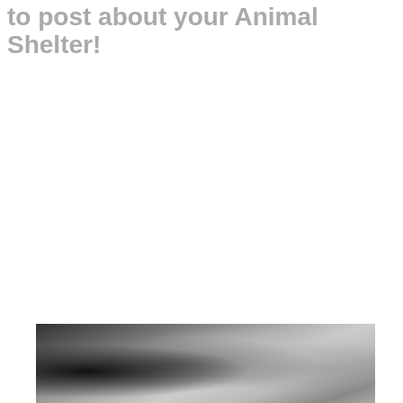to post about your Animal Shelter!
[Figure (photo): Partial photo at bottom of page showing what appears to be a light-colored animal (likely a cat or dog) with soft fur, photographed in close-up with gray and white tones.]